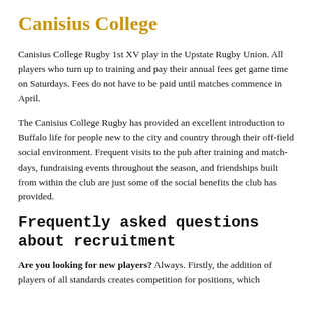Canisius College
Canisius College Rugby 1st XV play in the Upstate Rugby Union. All players who turn up to training and pay their annual fees get game time on Saturdays. Fees do not have to be paid until matches commence in April.
The Canisius College Rugby has provided an excellent introduction to Buffalo life for people new to the city and country through their off-field social environment. Frequent visits to the pub after training and match-days, fundraising events throughout the season, and friendships built from within the club are just some of the social benefits the club has provided.
Frequently asked questions about recruitment
Are you looking for new players? Always. Firstly, the addition of players of all standards creates competition for positions, which